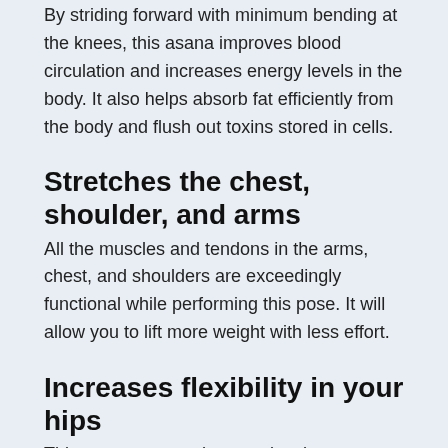By striding forward with minimum bending at the knees, this asana improves blood circulation and increases energy levels in the body. It also helps absorb fat efficiently from the body and flush out toxins stored in cells.
Stretches the chest, shoulder, and arms
All the muscles and tendons in the arms, chest, and shoulders are exceedingly functional while performing this pose. It will allow you to lift more weight with less effort.
Increases flexibility in your hips
This asana targets the muscles that connect to the knee joint by stretching the hip flexors and hip